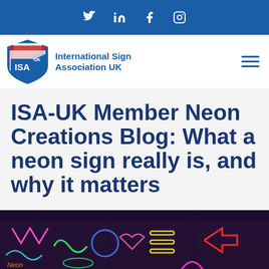Social media icons: Twitter, LinkedIn, Facebook, Instagram
[Figure (logo): International Sign Association UK logo with shield and Union Jack]
ISA-UK Member Neon Creations Blog: What a neon sign really is, and why it matters
[Figure (photo): Photo of multiple colourful neon signs displayed on ceiling/wall in a dark room]